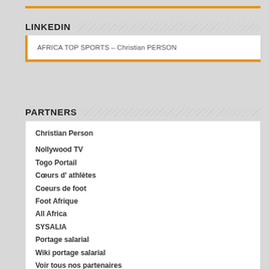LINKEDIN
AFRICA TOP SPORTS – Christian PERSON
PARTNERS
Christian Person
Nollywood TV
Togo Portail
Cœurs d' athlètes
Coeurs de foot
Foot Afrique
All Africa
SYSALIA
Portage salarial
Wiki portage salarial
Voir tous nos partenaires